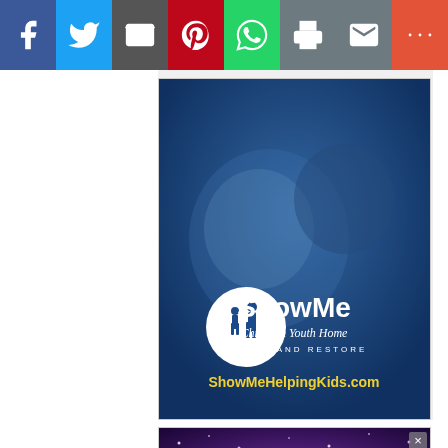[Figure (screenshot): Social media share bar with icons for Facebook, Twitter, Email, Pinterest, WhatsApp, Print, Gmail, and More]
[Figure (photo): ShowMe Christian Youth Home advertisement: blue-tinted photo of a child being kissed on the cheek by an adult, with ShowMe Christian Youth Home logo and text 'RESCUE AND RESTORE' and URL 'ShowMeHelpingKids.com' in yellow]
[Figure (photo): Second advertisement with purple starfield background and text 'New York Times bestselling author' in white italic serif font]